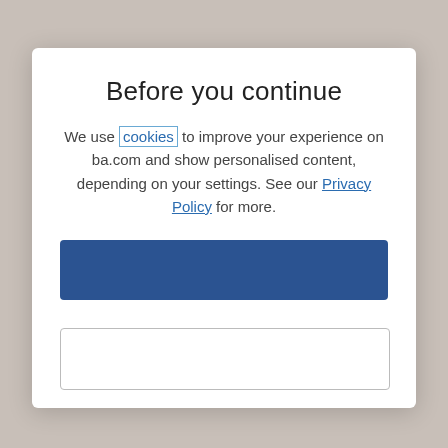Before you continue
We use cookies to improve your experience on ba.com and show personalised content, depending on your settings. See our Privacy Policy for more.
[Figure (other): Blue accept/confirm button (no label visible)]
[Figure (other): White manage/secondary button (no label visible)]